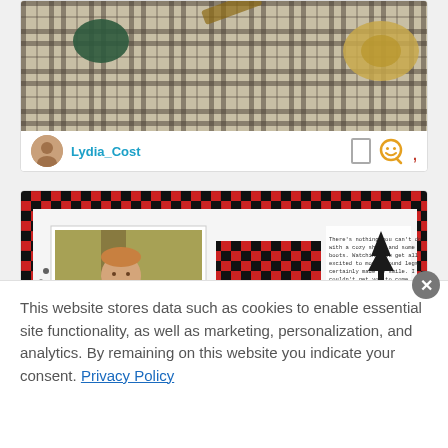[Figure (screenshot): Social media post showing a plaid/tartan flat-lay photo with crafting supplies on a plaid background]
Lydia_Cost
[Figure (photo): Scrapbook layout with a photo of a young boy in plaid shirt sitting in autumn leaves, red/black buffalo plaid paper, pine tree and boot embellishment, and typewriter-font journaling text]
This website stores data such as cookies to enable essential site functionality, as well as marketing, personalization, and analytics. By remaining on this website you indicate your consent. Privacy Policy